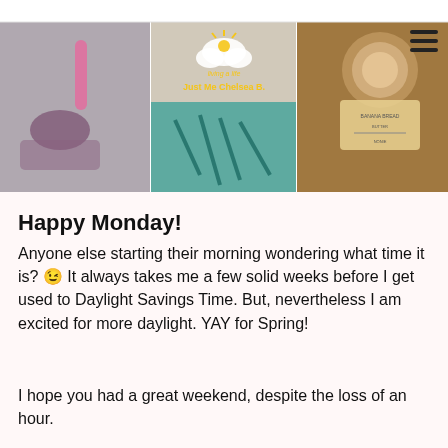[Figure (photo): Blog header banner with collage of lifestyle photos (pink item, shoes/feet, teal fabric, coffee/food items) and blog logo overlay reading 'Just Me Chelsea B.' with subtitle 'living a life' in yellow text]
Happy Monday!
Anyone else starting their morning wondering what time it is? 😉 It always takes me a few solid weeks before I get used to Daylight Savings Time. But, nevertheless I am excited for more daylight. YAY for Spring!
I hope you had a great weekend, despite the loss of an hour.